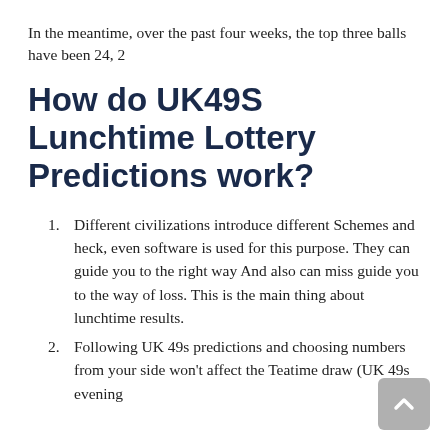In the meantime, over the past four weeks, the top three balls have been 24, 2
How do UK49S Lunchtime Lottery Predictions work?
Different civilizations introduce different Schemes and heck, even software is used for this purpose. They can guide you to the right way And also can miss guide you to the way of loss. This is the main thing about lunchtime results.
Following UK 49s predictions and choosing numbers from your side won’t affect the Teatime draw (UK 49s evening